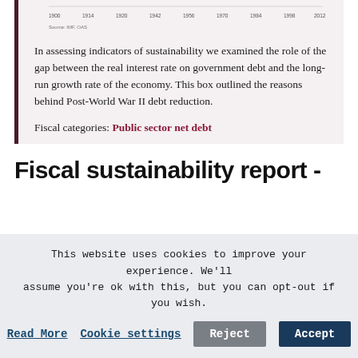[Figure (continuous-plot): Partial view of a line chart showing historical data from approximately 1900 to 2012, with x-axis labels: 1900, 1914, 1920, 1942, 1956, 1970, 1984, 1998, 2012. Source: IMF, OAS.]
In assessing indicators of sustainability we examined the role of the gap between the real interest rate on government debt and the long-run growth rate of the economy. This box outlined the reasons behind Post-World War II debt reduction.
Fiscal categories: Public sector net debt
Fiscal sustainability report -
This website uses cookies to improve your experience. We'll assume you're ok with this, but you can opt-out if you wish.
Read More   Cookie settings   Reject   Accept